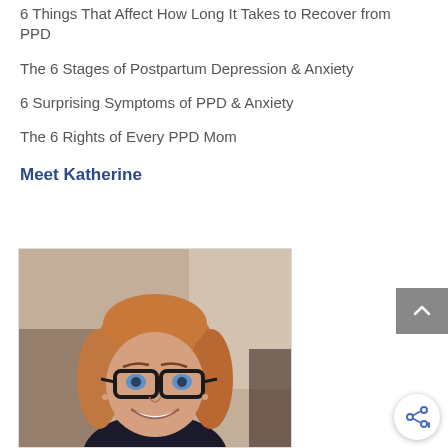6 Things That Affect How Long It Takes to Recover from PPD
The 6 Stages of Postpartum Depression & Anxiety
6 Surprising Symptoms of PPD & Anxiety
The 6 Rights of Every PPD Mom
Meet Katherine
[Figure (photo): Photo of Katherine, a woman with reddish-blonde hair, glasses, and a big smile, wearing a dark sleeveless top.]